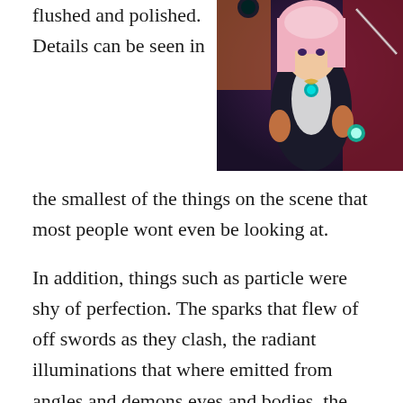flushed and polished. Details can be seen in the smallest of the things on the scene that most people wont even be looking at.
[Figure (illustration): Anime screenshot showing a character with long pink/white hair wearing ornate dark clothing with a teal gem, in a dramatic pose]
In addition, things such as particle were shy of perfection. The sparks that flew of off swords as they clash, the radiant illuminations that where emitted from angles and demons eyes and bodies, the smoke and stones that flew threw through the air during a huge battle. All of these entities were beautifully animated. This is what initially got me watching the series in the first place. The production value for the animation was one of the best of 2014; up there with Fate/Stay Night and Nagino no Asukara.